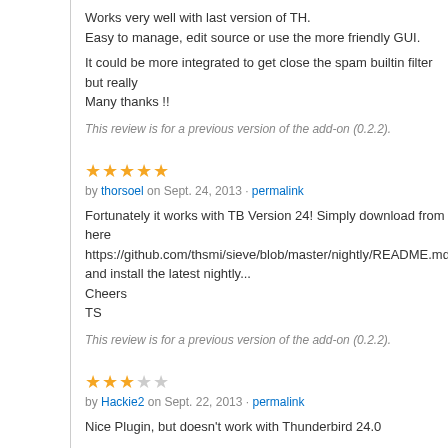Works very well with last version of TH.
Easy to manage, edit source or use the more friendly GUI.

It could be more integrated to get close the spam builtin filter but really
Many thanks !!
This review is for a previous version of the add-on (0.2.2).
★★★★★
by thorsoel on Sept. 24, 2013 · permalink
Fortunately it works with TB Version 24! Simply download from here https://github.com/thsmi/sieve/blob/master/nightly/README.md and install the latest nightly...
Cheers
TS
This review is for a previous version of the add-on (0.2.2).
★★★☆☆
by Hackie2 on Sept. 22, 2013 · permalink
Nice Plugin, but doesn't work with Thunderbird 24.0
This review is for a previous version of the add-on (0.2.2).